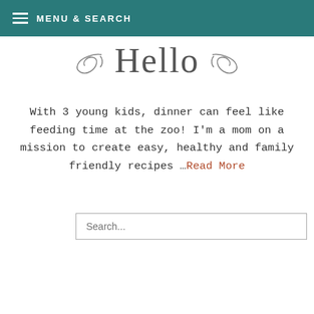≡ MENU & SEARCH
~ Hello ~
With 3 young kids, dinner can feel like feeding time at the zoo! I'm a mom on a mission to create easy, healthy and family friendly recipes …Read More
[Figure (other): Search input box with placeholder text 'Search...']